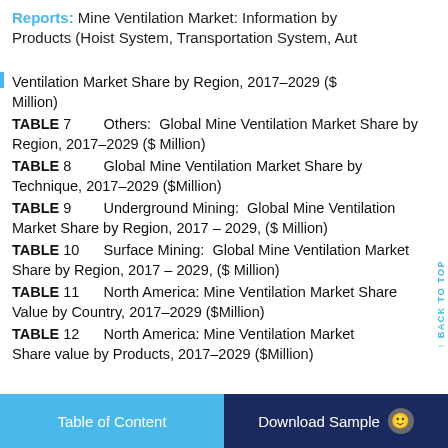Reports: Mine Ventilation Market: Information by Products (Hoist System, Transportation System, Aut
Ventilation Market Share by Region, 2017–2029 ($ Million)
TABLE 7   Others:  Global Mine Ventilation Market Share by Region, 2017–2029 ($ Million)
TABLE 8   Global Mine Ventilation Market Share by Technique, 2017–2029 ($Million)
TABLE 9   Underground Mining:  Global Mine Ventilation Market Share by Region, 2017 – 2029, ($ Million)
TABLE 10   Surface Mining:  Global Mine Ventilation Market Share by Region, 2017 – 2029, ($ Million)
TABLE 11   North America: Mine Ventilation Market Share Value by Country, 2017–2029 ($Million)
TABLE 12   North America: Mine Ventilation Market Share value by Products, 2017–2029 ($Million)
Table of Content   Download Sample